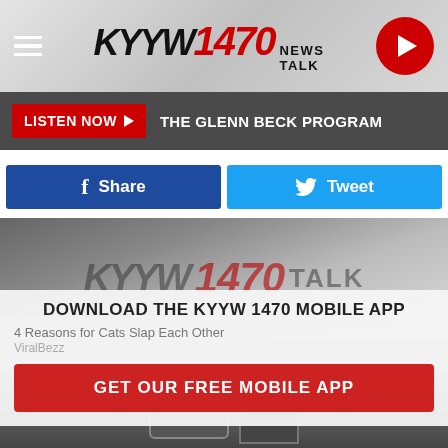[Figure (screenshot): KYYW 1470 News Talk radio website header with hamburger menu, logo, and play button]
LISTEN NOW ▶  THE GLENN BECK PROGRAM
f Share
Tweet
[Figure (photo): Hero image showing KYYW 1470 Talk logo overlaid on a blurred background]
DOWNLOAD THE KYYW 1470 MOBILE APP
4 Reasons for Cats Slap Each Other
ViralBezz
GET OUR FREE MOBILE APP
[Figure (photo): Bottom image showing a machine or appliance, possibly espresso maker]